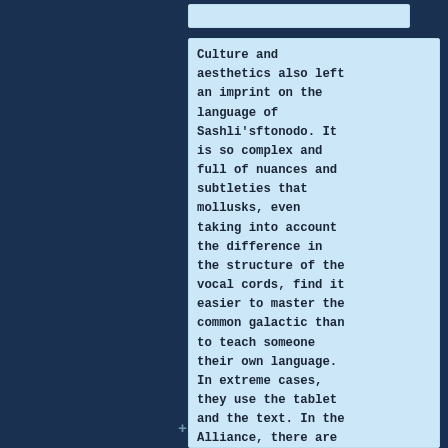Culture and aesthetics also left an imprint on the language of Sashli'sftonodo. It is so complex and full of nuances and subtleties that mollusks, even taking into account the difference in the structure of the vocal cords, find it easier to master the common galactic than to teach someone their own language. In extreme cases, they use the tablet and the text. In the Alliance, there are